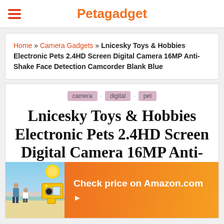Petagadget
Home » Camera Gadgets » Lnicesky Toys & Hobbies Electronic Pets 2.4HD Screen Digital Camera 16MP Anti-Shake Face Detection Camcorder Blank Blue
camera · digital · pet
Lnicesky Toys & Hobbies Electronic Pets 2.4HD Screen Digital Camera 16MP Anti-
Check price on Amazon.com ▶